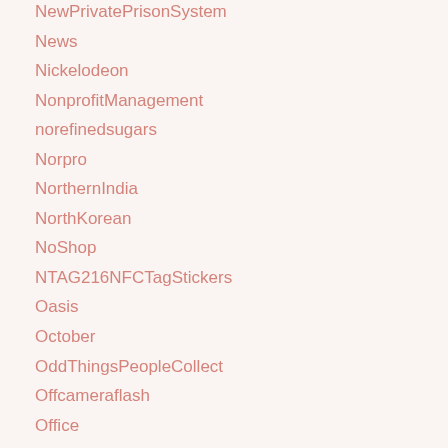NewPrivatePrisonSystem
News
Nickelodeon
NonprofitManagement
norefinedsugars
Norpro
NorthernIndia
NorthKorean
NoShop
NTAG216NFCTagStickers
Oasis
October
OddThingsPeopleCollect
Offcameraflash
Office